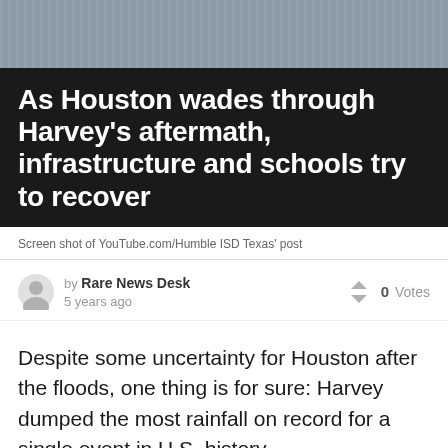[Figure (photo): Grayscale/muted photo of water or rain, serving as background image at top of article]
As Houston wades through Harvey's aftermath, infrastructure and schools try to recover
Screen shot of YouTube.com/Humble ISD Texas' post
by Rare News Desk
5 years ago
↑↓ 0 Votes
Despite some uncertainty for Houston after the floods, one thing is for sure: Harvey dumped the most rainfall on record for a single event in U.S. history.